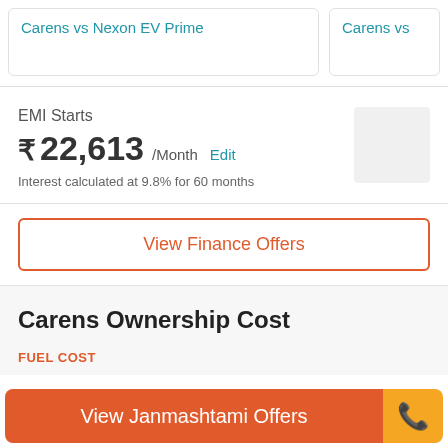Carens vs Nexon EV Prime
Carens vs
EMI Starts
₹22,613 /Month  Edit
Interest calculated at 9.8% for 60 months
View Finance Offers
Carens Ownership Cost
FUEL COST
View Janmashtami Offers